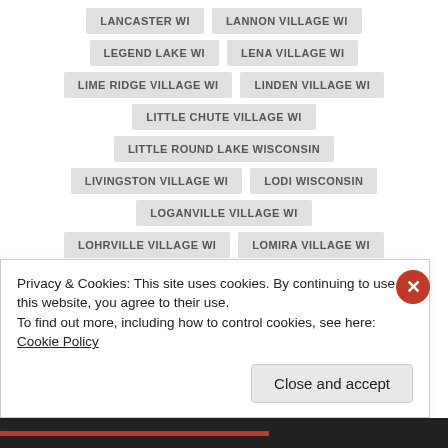LANCASTER WI
LANNON VILLAGE WI
LEGEND LAKE WI
LENA VILLAGE WI
LIME RIDGE VILLAGE WI
LINDEN VILLAGE WI
LITTLE CHUTE VILLAGE WI
LITTLE ROUND LAKE WISCONSIN
LIVINGSTON VILLAGE WI
LODI WISCONSIN
LOGANVILLE VILLAGE WI
LOHRVILLE VILLAGE WI
LOMIRA VILLAGE WI
LONE ROCK VILLAGE WI
LOWELL VILLAGE WI
LOYAL WI
LUBLIN VILLAGE WI
LUCK VILLAGE WI
LUXEMBURG VILLAGE WI
Privacy & Cookies: This site uses cookies. By continuing to use this website, you agree to their use.
To find out more, including how to control cookies, see here: Cookie Policy
Close and accept